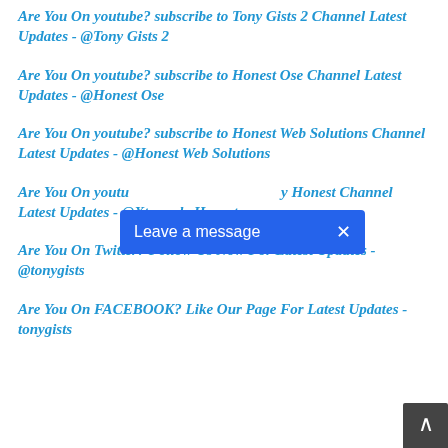Are You On youtube? subscribe to Tony Gists 2 Channel Latest Updates - @Tony Gists 2
Are You On youtube? subscribe to Honest Ose Channel Latest Updates - @Honest Ose
Are You On youtube? subscribe to Honest Web Solutions Channel Latest Updates - @Honest Web Solutions
Are You On youtube? subscribe to Xtremely Honest Channel Latest Updates - @Xtremely Honest
Are You On Twitter? Follow Us Now For Latest Updates - @tonygists
Are You On FACEBOOK? Like Our Page For Latest Updates - tonygists
[Figure (screenshot): Blue 'Leave a message' button overlay with an X close button on the right side]